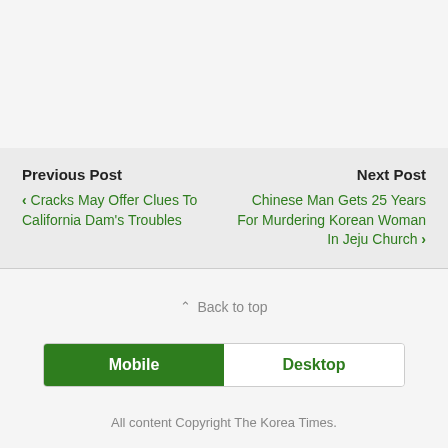Previous Post
‹ Cracks May Offer Clues To California Dam's Troubles
Next Post
Chinese Man Gets 25 Years For Murdering Korean Woman In Jeju Church ›
⌃ Back to top
Mobile | Desktop
All content Copyright The Korea Times.